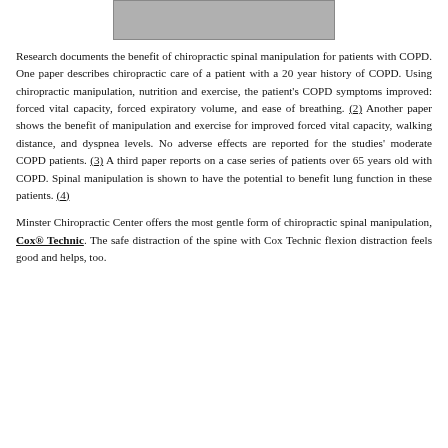[Figure (photo): Photo of a chiropractic table or device, shown from above on a grey background.]
Research documents the benefit of chiropractic spinal manipulation for patients with COPD. One paper describes chiropractic care of a patient with a 20 year history of COPD. Using chiropractic manipulation, nutrition and exercise, the patient's COPD symptoms improved: forced vital capacity, forced expiratory volume, and ease of breathing. (2) Another paper shows the benefit of manipulation and exercise for improved forced vital capacity, walking distance, and dyspnea levels. No adverse effects are reported for the studies' moderate COPD patients. (3) A third paper reports on a case series of patients over 65 years old with COPD. Spinal manipulation is shown to have the potential to benefit lung function in these patients. (4)
Minster Chiropractic Center offers the most gentle form of chiropractic spinal manipulation, Cox® Technic. The safe distraction of the spine with Cox Technic flexion distraction feels good and helps, too.